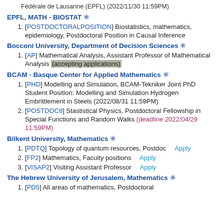Fédérale de Lausanne (EPFL) (2022/11/30 11:59PM)
EPFL, MATH - BIOSTAT ✳
[POSTDOCTORALPOSITION] Biostatistics, mathematics, epidemiology, Postdoctoral Position in Causal Inference
Bocconi University, Department of Decision Sciences ✳
[AP] Mathematical Analysis, Assistant Professor of Mathematical Analysis (accepting applications)
BCAM - Basque Center for Applied Mathematics ✳
[PHD] Modelling and Simulation, BCAM-Tekniker Joint PhD Student Position: Modelling and Simulation Hydrogen Embrittlement in Steels (2022/08/31 11:59PM)
[POSTDOC8] Stastistical Physics, Postdoctoral Fellowship in Special Functions and Random Walks (deadline 2022/04/29 11:59PM)
Bilkent University, Mathematics ✳
[PDTQ] Topology of quantum resources, Postdoc  Apply
[FP2] Mathematics, Faculty positions  Apply
[VISAP2] Visiting Assistant Professor  Apply
The Hebrew University of Jerusalem, Mathematics ✳
[PD5] All areas of mathematics, Postdoctoral